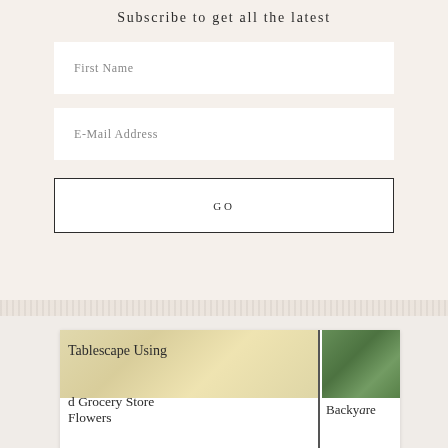Subscribe to get all the latest
First Name
E-Mail Address
GO
[Figure (screenshot): Screenshot showing two article thumbnail cards: left card shows 'Tablescape Using d Grocery Store Flowers' with yellow floral image; right card shows green plant image with text 'Backyard']
Tablescape Using d Grocery Store Flowers
Backyard